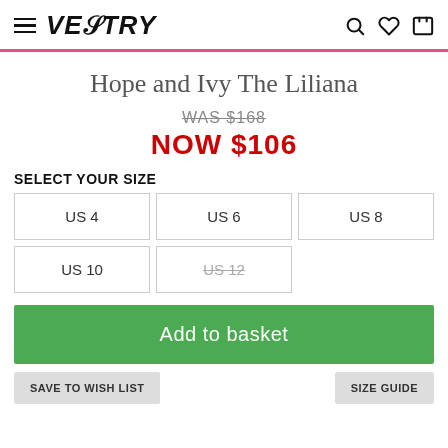VESTRY — navigation header with hamburger menu, search, wishlist, basket icons
Hope and Ivy The Liliana
WAS $168
NOW $106
SELECT YOUR SIZE
US 4 | US 6 | US 8 | US 10 | US 12 (out of stock)
Add to basket
SAVE TO WISH LIST
SIZE GUIDE